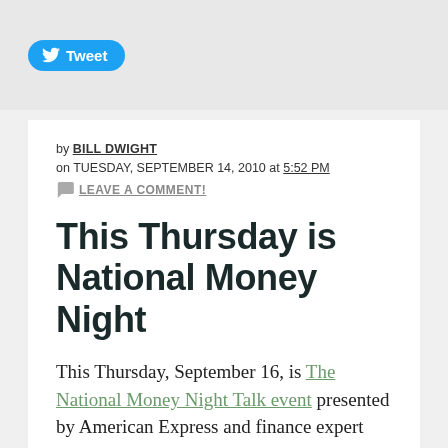[Figure (other): Twitter Tweet button with bird logo in blue rounded rectangle]
by BILL DWIGHT
on TUESDAY, SEPTEMBER 14, 2010 at 5:52 PM
LEAVE A COMMENT!
This Thursday is National Money Night
This Thursday, September 16, is The National Money Night Talk event presented by American Express and finance expert Jean Chatzky. The idea is to sit down with your kids and have a discussion about personal finance basics. The goal: improve the odds of them enjoying a better financial future.